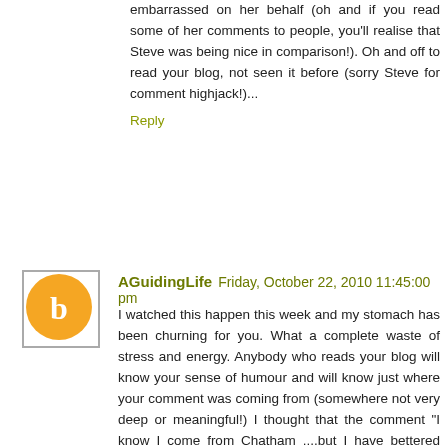embarrassed on her behalf (oh and if you read some of her comments to people, you'll realise that Steve was being nice in comparison!). Oh and off to read your blog, not seen it before (sorry Steve for comment highjack!)...
Reply
AGuidingLife  Friday, October 22, 2010 11:45:00 pm
I watched this happen this week and my stomach has been churning for you. What a complete waste of stress and energy. Anybody who reads your blog will know your sense of humour and will know just where your comment was coming from (somewhere not very deep or meaningful!) I thought that the comment "I know I come from Chatham ....but I have bettered myself" was one of the funniest things I have read recently. I would not have laughed if I'd have known how far it was going to go. Utter madness, life is far to short to get this worked up about it all. It is amazingly easy to offend people in a comment. I have manage to even raise Heathers hackles once and I genuinely am usually just trying to be light hearted or lightly enter a fold. I have a massive concern about people crying